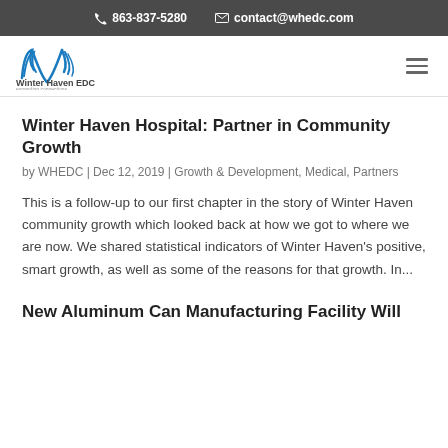📞 863-837-5280   ✉ contact@whedc.com
[Figure (logo): Winter Haven EDC logo with stylized blue W shape and text 'Winter Haven EDC expanding connections']
Winter Haven Hospital: Partner in Community Growth
by WHEDC | Dec 12, 2019 | Growth & Development, Medical, Partners
This is a follow-up to our first chapter in the story of Winter Haven community growth which looked back at how we got to where we are now. We shared statistical indicators of Winter Haven's positive, smart growth, as well as some of the reasons for that growth. In...
New Aluminum Can Manufacturing Facility Will